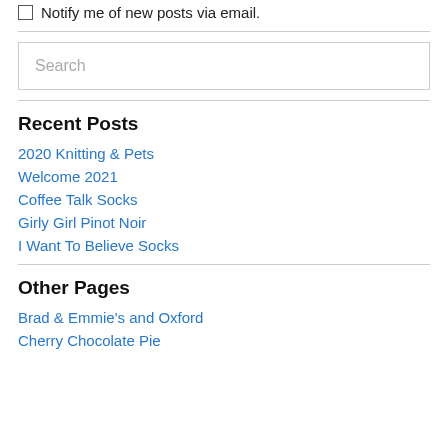Notify me of new posts via email.
Search
Recent Posts
2020 Knitting & Pets
Welcome 2021
Coffee Talk Socks
Girly Girl Pinot Noir
I Want To Believe Socks
Other Pages
Brad & Emmie's and Oxford
Cherry Chocolate Pie